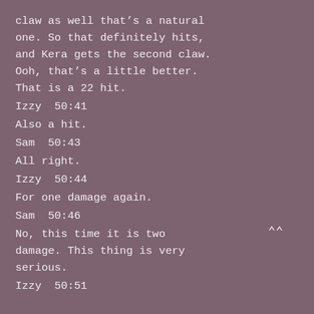claw as well that’s a natural one. So that definitely hits, and Kera gets the second claw. Ooh, that’s a little better. That is a 22 hit.
Izzy  50:41
Also a hit.
Sam  50:43
All right.
Izzy  50:44
For one damage again.
Sam  50:46
No, this time it is two damage. This thing is very serious.
Izzy  50:51